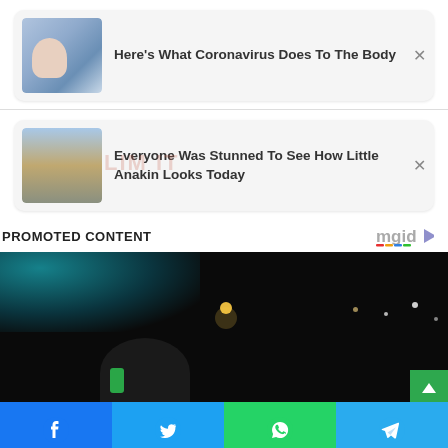[Figure (screenshot): News card with hospital patient image - Here's What Coronavirus Does To The Body]
[Figure (screenshot): News card with young boy image - Everyone Was Stunned To See How Little Anakin Looks Today]
PROMOTED CONTENT
[Figure (photo): Dark nighttime street scene with person and city lights, with mgid logo]
[Figure (screenshot): Social sharing bar with Facebook, Twitter, WhatsApp, and Telegram buttons]